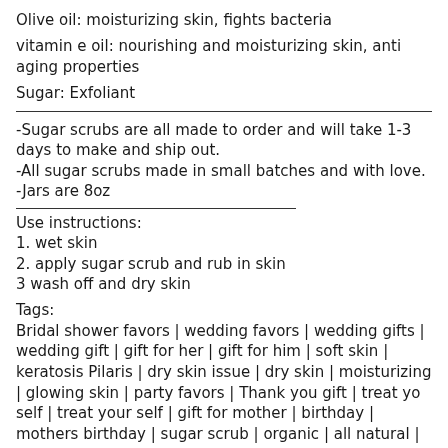Olive oil: moisturizing skin, fights bacteria
vitamin e oil: nourishing and moisturizing skin, anti aging properties
Sugar: Exfoliant
-Sugar scrubs are all made to order and will take 1-3 days to make and ship out.
-All sugar scrubs made in small batches and with love.
-Jars are 8oz
Use instructions:
1. wet skin
2. apply sugar scrub and rub in skin
3 wash off and dry skin
Tags:
Bridal shower favors | wedding favors | wedding gifts | wedding gift | gift for her | gift for him | soft skin | keratosis Pilaris | dry skin issue | dry skin | moisturizing | glowing skin | party favors | Thank you gift | treat yo self | treat your self | gift for mother | birthday | mothers birthday | sugar scrub | organic | all natural |